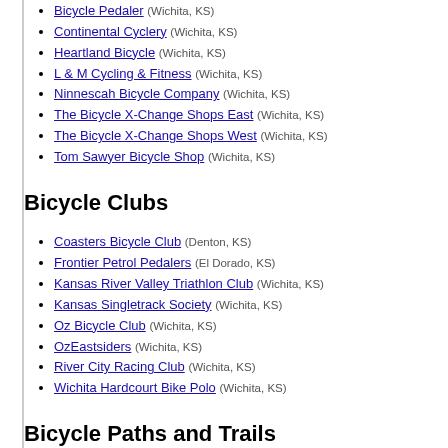Bicycle Pedaler (Wichita, KS)
Continental Cyclery (Wichita, KS)
Heartland Bicycle (Wichita, KS)
L & M Cycling & Fitness (Wichita, KS)
Ninnescah Bicycle Company (Wichita, KS)
The Bicycle X-Change Shops East (Wichita, KS)
The Bicycle X-Change Shops West (Wichita, KS)
Tom Sawyer Bicycle Shop (Wichita, KS)
Bicycle Clubs
Coasters Bicycle Club (Denton, KS)
Frontier Petrol Pedalers (El Dorado, KS)
Kansas River Valley Triathlon Club (Wichita, KS)
Kansas Singletrack Society (Wichita, KS)
Oz Bicycle Club (Wichita, KS)
OzEastsiders (Wichita, KS)
River City Racing Club (Wichita, KS)
Wichita Hardcourt Bike Polo (Wichita, KS)
Bicycle Paths and Trails
Air Capital Memorial Park Singletrack (Wichita, KS)
Augusta Pedestrian & Bicycle Path (Augusta, KS)
El Dorado Bike Trails (El Dorado, KS)
Great Osage Trail (Wellington, KS)
Haysville Hike and Bike Path (Haysville, KS)
Iron Horse Trail (Augusta, KS)
Prairie Sunset Trail (Garden Plain, KS)
Redbud Trail